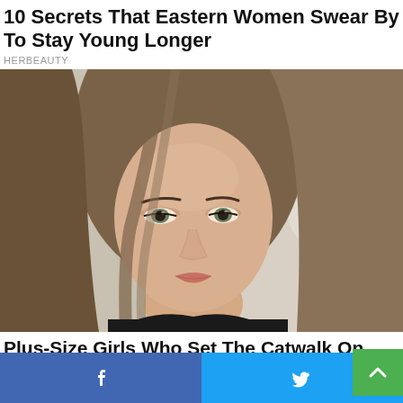10 Secrets That Eastern Women Swear By To Stay Young Longer
HERBEAUTY
[Figure (photo): Close-up portrait of a young woman with long straight brown/blonde hair, looking at the camera with a neutral expression against a blurred light background]
Plus-Size Girls Who Set The Catwalk On Fire
BRAINBERRIES
[Figure (photo): Partial photo of a dark-haired person, mostly cut off at bottom of page]
Facebook share button | Twitter share button